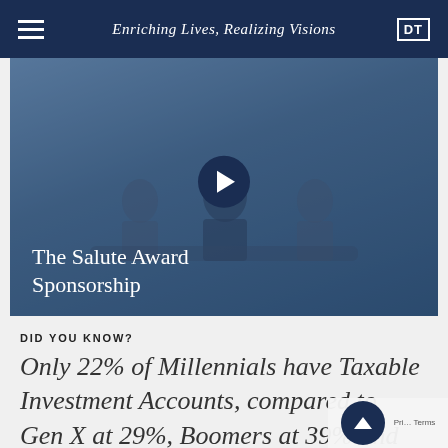Enriching Lives, Realizing Visions
[Figure (photo): Video thumbnail showing a meeting room with people seated at a conference table. A large play button is centered on the image. Text overlay reads: The Salute Award Sponsorship]
DID YOU KNOW?
Only 22% of Millennials have Taxable Investment Accounts, compared to Gen X at 29%, Boomers at 39% and Silent Generation at 8%